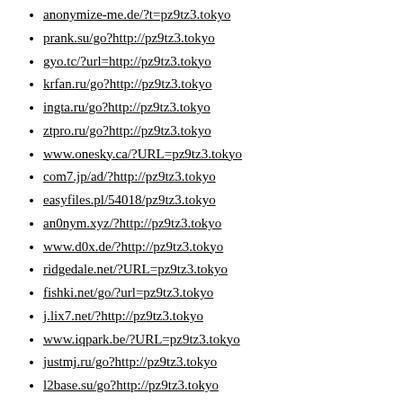anonymize-me.de/?t=pz9tz3.tokyo
prank.su/go?http://pz9tz3.tokyo
gyo.tc/?url=http://pz9tz3.tokyo
krfan.ru/go?http://pz9tz3.tokyo
ingta.ru/go?http://pz9tz3.tokyo
ztpro.ru/go?http://pz9tz3.tokyo
www.onesky.ca/?URL=pz9tz3.tokyo
com7.jp/ad/?http://pz9tz3.tokyo
easyfiles.pl/54018/pz9tz3.tokyo
an0nym.xyz/?http://pz9tz3.tokyo
www.d0x.de/?http://pz9tz3.tokyo
ridgedale.net/?URL=pz9tz3.tokyo
fishki.net/go/?url=pz9tz3.tokyo
j.lix7.net/?http://pz9tz3.tokyo
www.iqpark.be/?URL=pz9tz3.tokyo
justmj.ru/go?http://pz9tz3.tokyo
l2base.su/go?http://pz9tz3.tokyo
mydom.review/domain/pz9tz3.tokyo
twosixcode.com/?URL=pz9tz3.tokyo